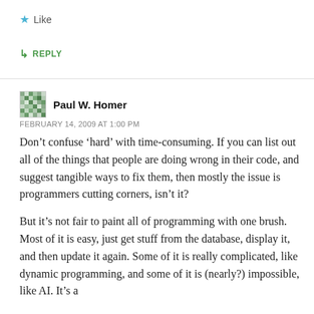★ Like
↳ REPLY
Paul W. Homer
FEBRUARY 14, 2009 AT 1:00 PM
Don't confuse 'hard' with time-consuming. If you can list out all of the things that people are doing wrong in their code, and suggest tangible ways to fix them, then mostly the issue is programmers cutting corners, isn't it?
But it's not fair to paint all of programming with one brush. Most of it is easy, just get stuff from the database, display it, and then update it again. Some of it is really complicated, like dynamic programming, and some of it is (nearly?) impossible, like AI. It's a